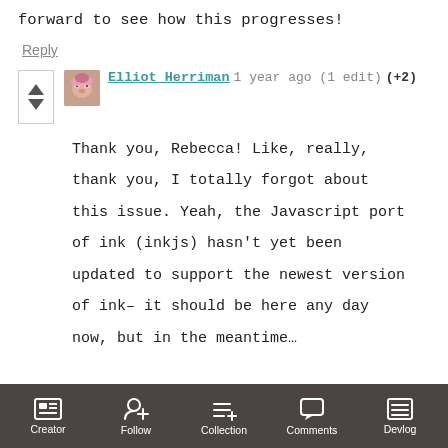forward to see how this progresses!
Reply
Elliot Herriman 1 year ago (1 edit) (+2)
Thank you, Rebecca! Like, really, thank you, I totally forgot about this issue. Yeah, the Javascript port of ink (inkjs) hasn't yet been updated to support the newest version of ink– it should be here any day now, but in the meantime…
Creator  Follow  Collection  Comments  Devlog